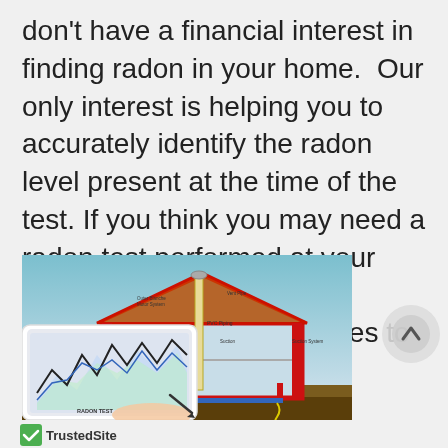don't have a financial interest in finding radon in your home.  Our only interest is helping you to accurately identify the radon level present at the time of the test. If you think you may need a radon test performed at your home in Chantilly, Virginia, contact Biller and Associates to schedule an appointment.
[Figure (illustration): An illustration of a house cross-section showing a radon mitigation system with PVC piping, suction pit, and ventilation fan. In the foreground, a hand holds a smartphone displaying a radon monitoring graph with zigzag lines.]
[Figure (logo): TrustedSite logo with green checkmark]